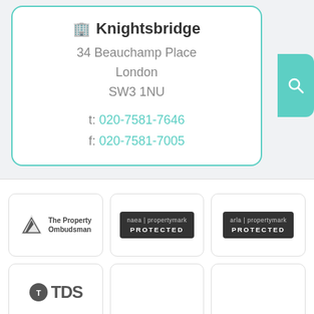Knightsbridge
34 Beauchamp Place
London
SW3 1NU
t: 020-7581-7646
f: 020-7581-7005
[Figure (logo): The Property Ombudsman logo]
[Figure (logo): naea | propertymark PROTECTED badge]
[Figure (logo): arla | propertymark PROTECTED badge]
[Figure (logo): TDS logo (partial, bottom row)]